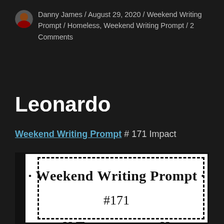Danny James / August 29, 2020 / Weekend Writing Prompt / Homeless, Weekend Writing Prompt / 2 Comments
Leonardo
Weekend Writing Prompt # 171 Impact
[Figure (other): Weekend Writing Prompt promotional card with dashed border and left black bar. Shows title 'Weekend Writing Prompt', number '#171', and word 'Impact' in large bold serif font.]